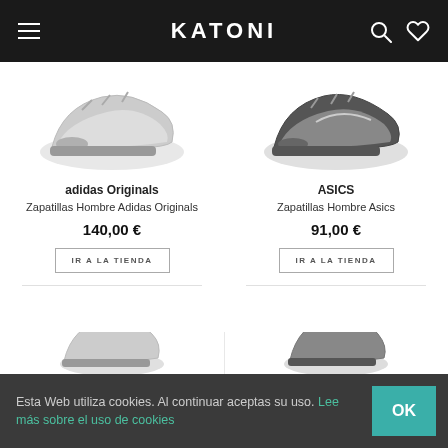KATONI
[Figure (photo): Partial shoe image for adidas Originals product (top portion cropped)]
[Figure (photo): Partial shoe image for ASICS product (top portion cropped)]
adidas Originals
Zapatillas Hombre Adidas Originals
140,00 €
ASICS
Zapatillas Hombre Asics
91,00 €
IR A LA TIENDA
IR A LA TIENDA
[Figure (photo): Partial shoe image bottom-left (second row, cropped at page bottom)]
[Figure (photo): Partial shoe image bottom-right (second row, cropped at page bottom)]
Esta Web utiliza cookies. Al continuar aceptas su uso. Lee más sobre el uso de cookies